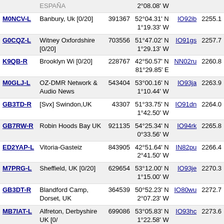| Callsign | Location | ID | Coordinates | Grid | Dist |
| --- | --- | --- | --- | --- | --- |
| M0NCV-L | Banbury, Uk [0/20] | 391367 | 52°04.31' N 1°19.33' W | IO92ib | 2255.1 |
| G0CQZ-L | Witney Oxfordshire [0/20] | 703556 | 51°47.02' N 1°29.13' W | IO91gs | 2257.7 |
| K9QB-R | Brooklyn Wi [0/20] | 228767 | 42°50.57' N 81°29.85' E | NN02ru | 2260.8 |
| M0GLJ-L | OZ-DMR Network & Audio News | 543404 | 53°00.16' N 1°10.44' W | IO93ja | 2263.9 |
| GB3TD-R | [Svx] Swindon,UK | 43307 | 51°33.75' N 1°42.50' W | IO91dn | 2264.0 |
| GB7RW-R | Robin Hoods Bay UK | 921135 | 54°25.34' N 0°33.56' W | IO94rk | 2265.8 |
| ED2YAP-L | Vitoria-Gasteiz | 843905 | 42°51.64' N 2°41.50' W | IN82pu | 2266.4 |
| M7PRG-L | Sheffield, UK [0/20] | 629654 | 53°12.00' N 1°15.00' W | IO93je | 2270.3 |
| GB3DT-R | Blandford Camp, Dorset, UK | 364539 | 50°52.23' N 2°07.23' W | IO80wu | 2272.7 |
| MB7IAT-L | Alfreton, Derbyshire UK [0/ | 699086 | 53°05.83' N 1°22.58' W | IO93hc | 2273.6 |
| GB3DC-R | Derby www.gb3dc.co.uk | 92369 | 52°55.30' N 1°27.43' W | IO92gw | 2274.0 |
| 2E0EVP-R | Rotherham England [1/20] | 917690 | 53°25.96' N 1°21.81' W | IO93hk | 2278.8 |
| EB1HYS-L | 145.375 Miranda/Burgos | 713938 | 42°41.00' N 2°56.00' W | IN82mq | 2279.3 |